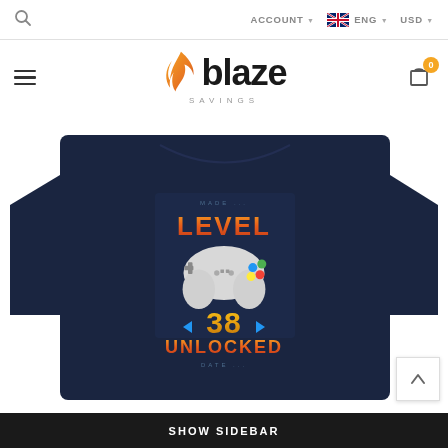ACCOUNT  ENG  USD
[Figure (logo): Blaze Savings logo with orange flame icon and bold text]
[Figure (photo): Navy blue long-sleeve t-shirt with gaming graphic showing 'LEVEL 38 UNLOCKED' with game controller]
SHOW SIDEBAR